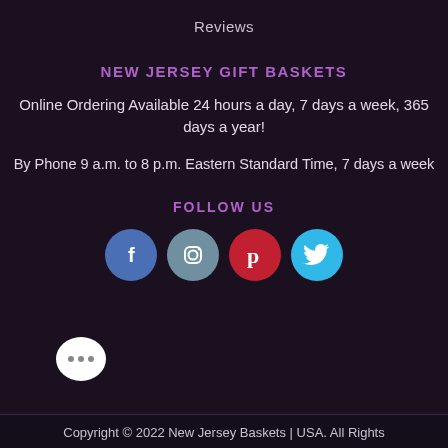Reviews
NEW JERSEY GIFT BASKETS
Online Ordering Available 24 hours a day, 7 days a week, 365 days a year!
By Phone 9 a.m. to 8 p.m. Eastern Standard Time, 7 days a week
FOLLOW US
[Figure (illustration): Four social media icons in circles: Facebook (blue), Instagram (gray-blue), Pinterest (red), Twitter (light blue)]
[Figure (illustration): White chat bubble icon with three dots]
Copyright © 2022 New Jersey Baskets | USA. All Rights